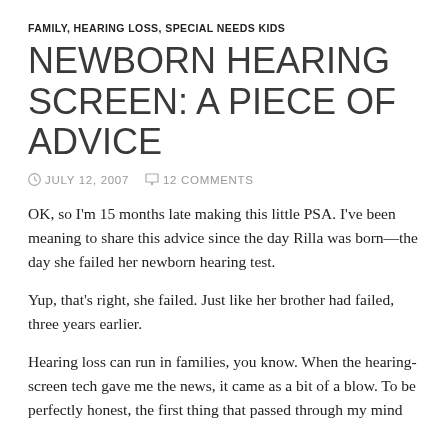FAMILY, HEARING LOSS, SPECIAL NEEDS KIDS
NEWBORN HEARING SCREEN: A PIECE OF ADVICE
JULY 12, 2007   12 COMMENTS
OK, so I'm 15 months late making this little PSA. I've been meaning to share this advice since the day Rilla was born—the day she failed her newborn hearing test.
Yup, that's right, she failed. Just like her brother had failed, three years earlier.
Hearing loss can run in families, you know. When the hearing-screen tech gave me the news, it came as a bit of a blow. To be perfectly honest, the first thing that passed through my mind